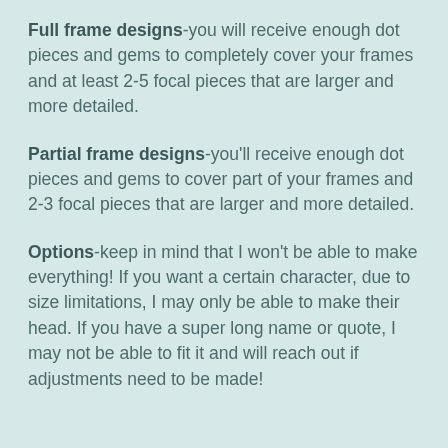Full frame designs-you will receive enough dot pieces and gems to completely cover your frames and at least 2-5 focal pieces that are larger and more detailed.
Partial frame designs-you'll receive enough dot pieces and gems to cover part of your frames and 2-3 focal pieces that are larger and more detailed.
Options-keep in mind that I won't be able to make everything! If you want a certain character, due to size limitations, I may only be able to make their head. If you have a super long name or quote, I may not be able to fit it and will reach out if adjustments need to be made!